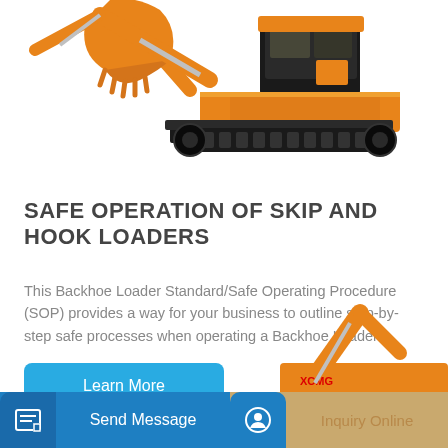[Figure (photo): Orange backhoe loader / mini excavator with black tracks and bucket, shown against white background. Partial bucket visible top-left corner.]
SAFE OPERATION OF SKIP AND HOOK LOADERS
This Backhoe Loader Standard/Safe Operating Procedure (SOP) provides a way for your business to outline step-by-step safe processes when operating a Backhoe Loader....
[Figure (other): Learn More button - blue rounded rectangle]
[Figure (photo): Partial image of orange construction equipment visible at bottom of page]
Send Message | Inquiry Online